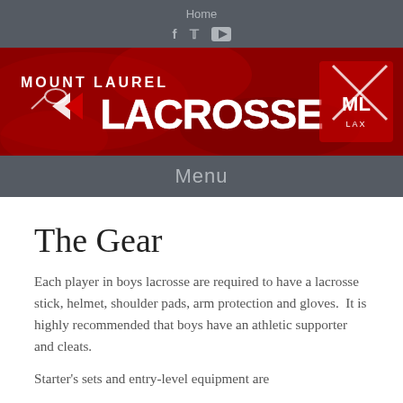Home
[Figure (logo): Mount Laurel Lacrosse banner logo on red background with team crest]
Menu
The Gear
Each player in boys lacrosse are required to have a lacrosse stick, helmet, shoulder pads, arm protection and gloves.  It is highly recommended that boys have an athletic supporter and cleats.
Starter's sets and entry-level equipment are